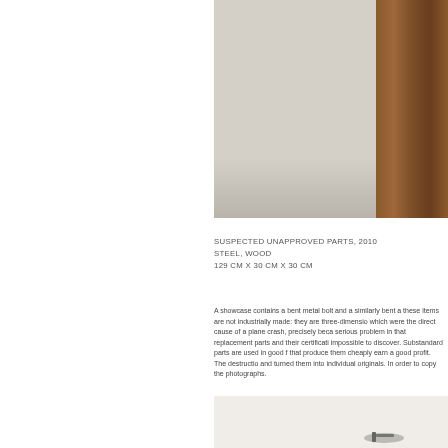[Figure (photo): Close-up photograph of a wooden panel and concrete floor, showing the base of a wooden structure on a light grey concrete surface]
SUSPECTED UNAPPROVED PARTS, 2010
STEEL, WOOD
129 CM X 30 CM X 30 CM
A showcase contains a bent metal bolt and a similarly bent a these items are not industrially made: they are three-dimensio which were the direct cause of a plane crash, precisely beca serious problem in that replacement parts and their certificati impossible to discover. Substandard parts are used in good f that produce them cheaply earn a good profit. The destructio and turned them into individual originals. In order to copy the photographs.
[Figure (photo): Partial bottom photo showing an object, likely a bolt or metal part, on a light surface]